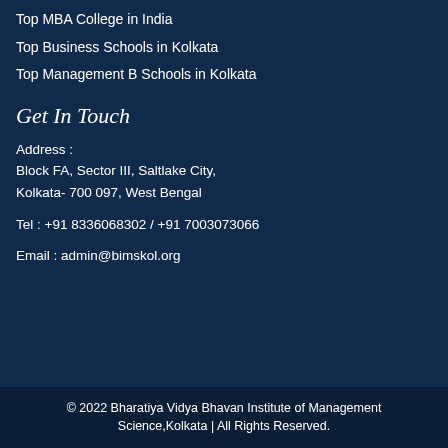Top MBA College in India
Top Business Schools in Kolkata
Top Management B Schools in Kolkata
Get In Touch
Address :
Block FA, Sector III, Saltlake City,
Kolkata- 700 097, West Bengal
Tel : +91 8336068302 / +91 7003073066
Email : admin@bimskol.org
© 2022 Bharatiya Vidya Bhavan Institute of Management Science,Kolkata | All Rights Reserved.